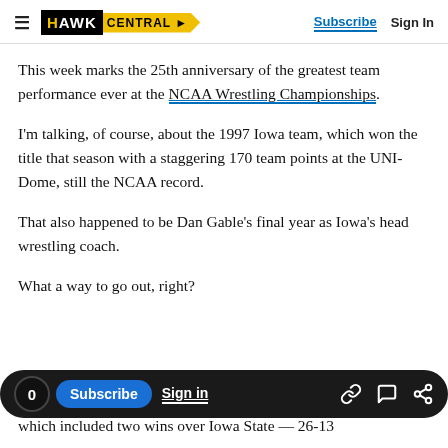HAWK CENTRAL | Subscribe | Sign In
This week marks the 25th anniversary of the greatest team performance ever at the NCAA Wrestling Championships.
I'm talking, of course, about the 1997 Iowa team, which won the title that season with a staggering 170 team points at the UNI-Dome, still the NCAA record.
That also happened to be Dan Gable's final year as Iowa's head wrestling coach.
What a way to go out, right?
which included two wins over Iowa State — 26-13